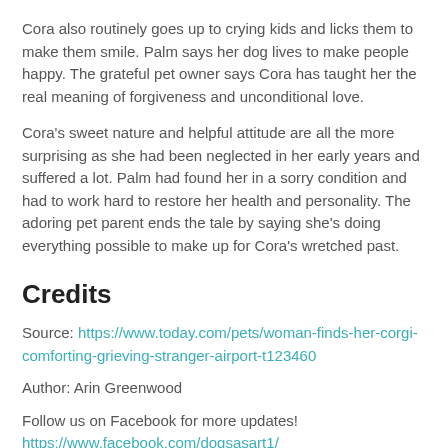Cora also routinely goes up to crying kids and licks them to make them smile. Palm says her dog lives to make people happy. The grateful pet owner says Cora has taught her the real meaning of forgiveness and unconditional love.
Cora's sweet nature and helpful attitude are all the more surprising as she had been neglected in her early years and suffered a lot. Palm had found her in a sorry condition and had to work hard to restore her health and personality. The adoring pet parent ends the tale by saying she's doing everything possible to make up for Cora's wretched past.
Credits
Source: https://www.today.com/pets/woman-finds-her-corgi-comforting-grieving-stranger-airport-t123460
Author: Arin Greenwood
Follow us on Facebook for more updates! https://www.facebook.com/dogsasart1/